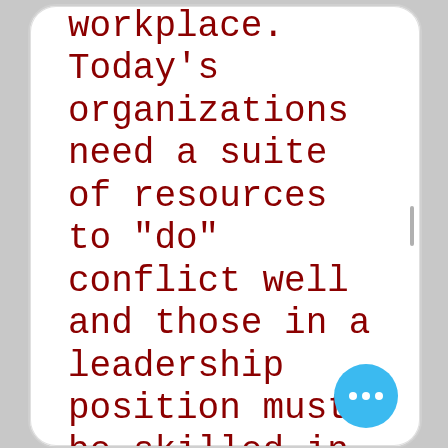workplace. Today's organizations need a suite of resources to "do" conflict well and those in a leadership position must be skilled in a variety of conflict resolution techniques. When conflicts go unaddressed, they can have a negative impact on productivity and teamwork. Using the